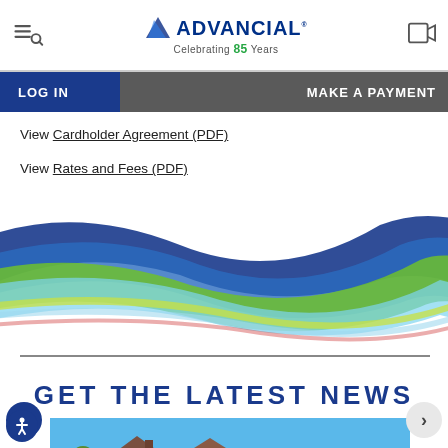Advancial - Celebrating 85 Years
LOG IN | MAKE A PAYMENT
View Cardholder Agreement (PDF)
View Rates and Fees (PDF)
View Advancial Rewards Terms and Conditions (PDF)
[Figure (illustration): Decorative wave graphic with blue, green, and white curved bands]
GET THE LATEST NEWS
[Figure (photo): Photo of residential houses with blue sky and autumn trees]